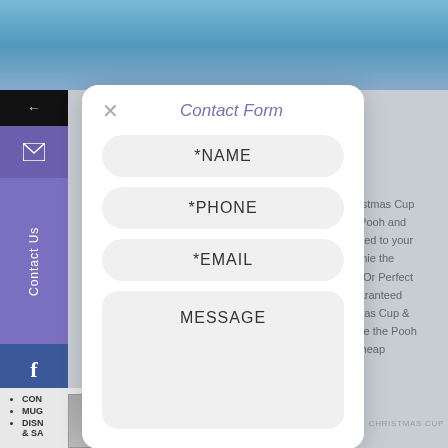[Figure (screenshot): Website screenshot showing a Contact Form modal over a product page background featuring Winnie the Pooh & Eeyore Christmas Cup. Left sidebar has navigation icons including mail, Contact Us text, Facebook, and Instagram. Background shows partial product description text.]
Contact Form
*NAME
*PHONE
*EMAIL
MESSAGE
ooh & Eeyore Christmas Cup with Winnie The Pooh and everything delivered to your h fan Disney Winnie the y on each orders Or Perfect t delivery and guaranteed & Eeyore Christmas Cup & em. Disney Winnie the Pooh ity promotions! Cheap
Contact Us
CON
MUG
DISN & SA
& EEYORE CHRISTMAS CUP